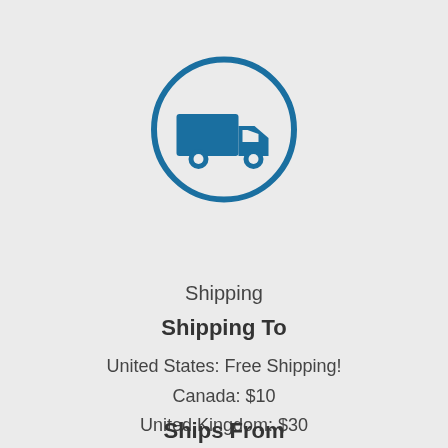[Figure (illustration): A delivery truck icon inside a blue circle outline on a light grey background]
Shipping
Shipping To
United States: Free Shipping!
Canada: $10
United Kingdom: $30
EVERYWHERE ELSE: $60
Ships From